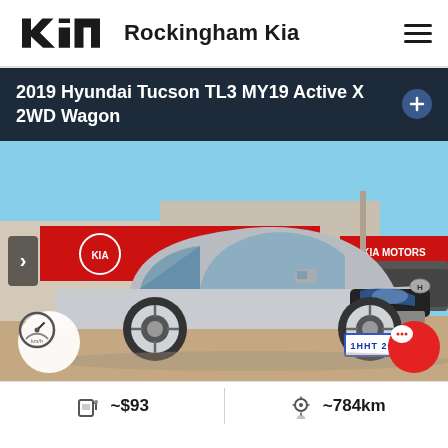[Figure (logo): Kia logo (black wordmark) followed by dealer name 'Rockingham Kia' and hamburger menu icon]
2019 Hyundai Tucson TL3 MY19 Active X 2WD Wagon
[Figure (photo): Silver 2019 Hyundai Tucson TL3 parked at Rockingham Kia dealership with license plate 1HHT 260]
~$93
~784km